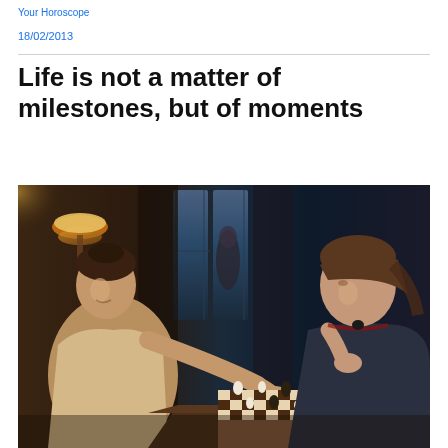Your Horoscope
18/02/2013
Life is not a matter of milestones, but of moments
[Figure (photo): Two people playing chess at a table in a dimly lit room. One person on the left reaches toward the chess pieces while the other on the right rests their chin on their hand, contemplating the game. A lamp and blue-lit window are visible in the background.]